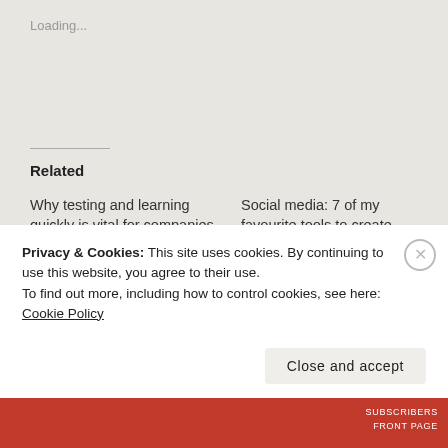Loading...
Related
Why testing and learning quickly is vital for companies in times of crisis
28 April 2021
In "Thoughts"
Social media: 7 of my favourite tools to create engaging designs
2 October 2020
In "Thoughts"
This businesswoman encourages the use of XR
Privacy & Cookies: This site uses cookies. By continuing to use this website, you agree to their use.
To find out more, including how to control cookies, see here: Cookie Policy
Close and accept